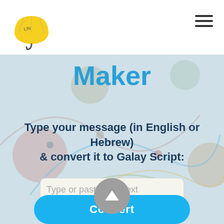[Figure (logo): Yellow umbrella logo in top left corner of navigation bar]
Maker
Type your message (in English or Hebrew)
& convert it to Galay Script:
[Figure (screenshot): Text input box with placeholder text: Type or paste your text here...]
Convert